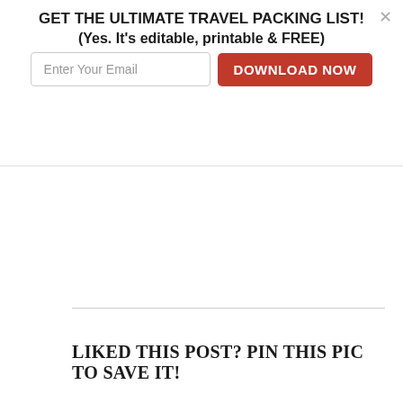GET THE ULTIMATE TRAVEL PACKING LIST!
(Yes. It's editable, printable & FREE)
Enter Your Email | DOWNLOAD NOW
The Best 2-Piece Dress for Travel
LIKED THIS POST? PIN THIS PIC TO SAVE IT!